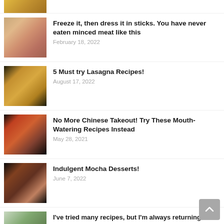[Figure (photo): Partial cropped food photo at top of page, cut off]
Freeze it, then dress it in sticks. You have never eaten minced meat like this
February 18, 2022
5 Must try Lasagna Recipes!
August 17, 2022
No More Chinese Takeout! Try These Mouth-Watering Recipes Instead
May 28, 2021
Indulgent Mocha Desserts!
June 7, 2022
I've tried many recipes, but I'm always returning to my...